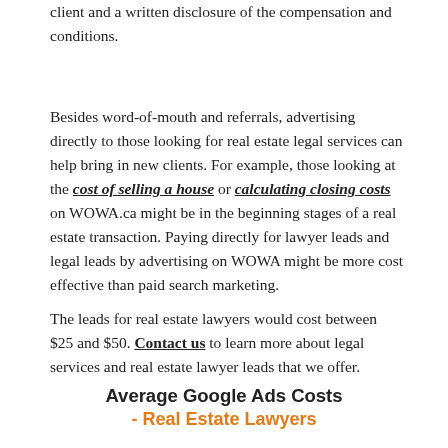client and a written disclosure of the compensation and conditions.
Besides word-of-mouth and referrals, advertising directly to those looking for real estate legal services can help bring in new clients. For example, those looking at the cost of selling a house or calculating closing costs on WOWA.ca might be in the beginning stages of a real estate transaction. Paying directly for lawyer leads and legal leads by advertising on WOWA might be more cost effective than paid search marketing.
The leads for real estate lawyers would cost between $25 and $50. Contact us to learn more about legal services and real estate lawyer leads that we offer.
Average Google Ads Costs - Real Estate Lawyers
| Keyword | Average Cost | Average Cost per Thousand | Click Through Rate |
| --- | --- | --- | --- |